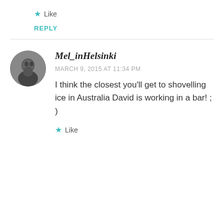★ Like
REPLY
[Figure (photo): Circular avatar photo of Mel_inHelsinki, a person shown in black and white/grayscale.]
Mel_inHelsinki
MARCH 9, 2015 AT 11:34 PM
I think the closest you'll get to shovelling ice in Australia David is working in a bar! ; )
★ Like